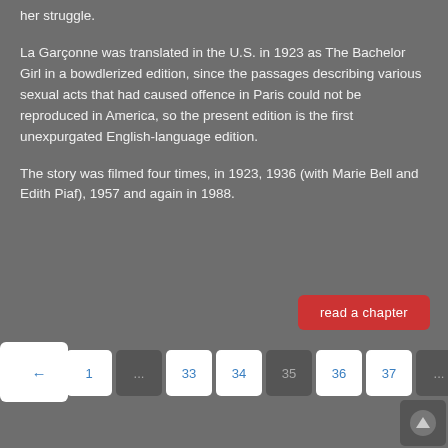her struggle.
La Garçonne was translated in the U.S. in 1923 as The Bachelor Girl in a bowdlerized edition, since the passages describing various sexual acts that had caused offence in Paris could not be reproduced in America, so the present edition is the first unexpurgated English-language edition.
The story was filmed four times, in 1923, 1936 (with Marie Bell and Edith Piaf), 1957 and again in 1988.
[Figure (other): Red button labeled 'read a chapter']
[Figure (other): White box with blue four-square grid icon]
[Figure (other): Pagination bar with buttons: ←, 1, ..., 33, 34, 35, 36, 37, ..., 445, →]